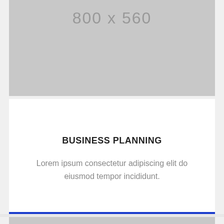[Figure (other): Gray placeholder image labeled 800 x 560]
BUSINESS PLANNING
Lorem ipsum consectetur adipiscing elit do eiusmod tempor incididunt.
[Figure (other): Gray placeholder image (partial, bottom of page)]